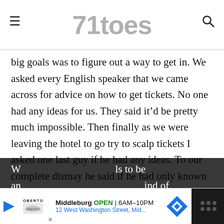71toes
big goals was to figure out a way to get in. We asked every English speaker that we came across for advice on how to get tickets. No one had any ideas for us. They said it’d be pretty much impossible. Then finally as we were leaving the hotel to go try to scalp tickets I asked one last guy if he had any ideas. To our complete dismay he said if he had only known we wanted tickets a half hour before he would have given us two of them. He had just barely given them away twenty minutes before. How’s that for serious heart sinking?
But we went ahead and gave the scalping a try. They seriously shut down the area for miles around to anyone without a ticket.
[Figure (other): Advertisement banner: Oberto brand logo, Middleburg location OPEN 6AM-10PM, 12 West Washington Street, Mid... with navigation arrow icon and weather widget on dark background]
W... ls to be an... ind of